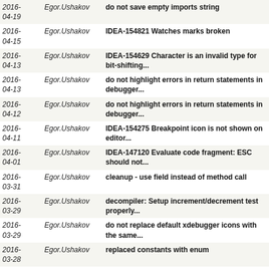| Date | Author | Message |
| --- | --- | --- |
| 2016-04-19 | Egor.Ushakov | do not save empty imports string |
| 2016-04-15 | Egor.Ushakov | IDEA-154821 Watches marks broken |
| 2016-04-13 | Egor.Ushakov | IDEA-154629 Character is an invalid type for bit-shifting... |
| 2016-04-13 | Egor.Ushakov | do not highlight errors in return statements in debugger... |
| 2016-04-12 | Egor.Ushakov | do not highlight errors in return statements in debugger... |
| 2016-04-11 | Egor.Ushakov | IDEA-154275 Breakpoint icon is not shown on editor... |
| 2016-04-01 | Egor.Ushakov | IDEA-147120 Evaluate code fragment: ESC should not... |
| 2016-03-31 | Egor.Ushakov | cleanup - use field instead of method call |
| 2016-03-29 | Egor.Ushakov | decompiler: Setup increment/decrement test properly... |
| 2016-03-29 | Egor.Ushakov | do not replace default xdebugger icons with the same... |
| 2016-03-28 | Egor.Ushakov | replaced constants with enum |
| 2016-03-28 | Egor.Ushakov | replace increment / decrement synthetic access method... |
| 2016-03-28 | Egor.Ushakov | reasonalble toString for easier debugging |
| 2016-03-28 | Egor.Ushakov | fixed not showing custom icon in watches if |